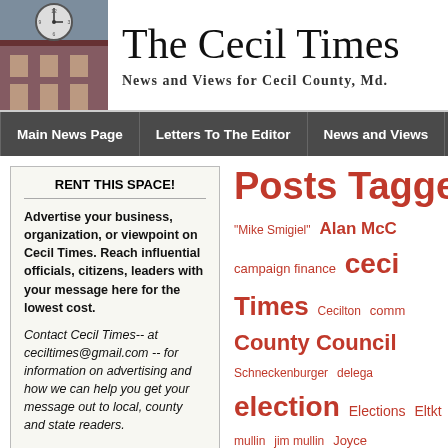[Figure (photo): Clock on a building exterior, used as The Cecil Times newspaper header photo]
The Cecil Times
News and Views for Cecil County, Md.
Main News Page | Letters To The Editor | News and Views | CECIL
RENT THIS SPACE!

Advertise your business, organization, or viewpoint on Cecil Times. Reach influential officials, citizens, leaders with your message here for the lowest cost.

Contact Cecil Times-- at ceciltimes@gmail.com -- for information on advertising and how we can help you get your message out to local, county and state readers.
Posts Tagged ' C
"Mike Smigiel" Alan McC campaign finance cecil Times Cecilton comm County Council Schneckenburger delega election Elections Eltkt mullin jim mullin Joyce Smigiel news Politics s
Cecil County Commission